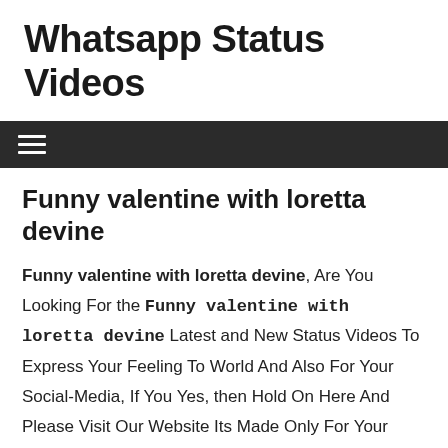Whatsapp Status Videos
≡ (navigation menu icon)
Funny valentine with loretta devine
Funny valentine with loretta devine, Are You Looking For the Funny valentine with loretta devine Latest and New Status Videos To Express Your Feeling To World And Also For Your Social-Media, If You Yes, then Hold On Here And Please Visit Our Website Its Made Only For Your Funny valentine with loretta